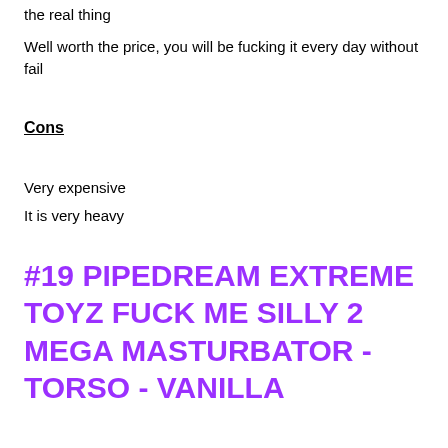the real thing
Well worth the price, you will be fucking it every day without fail
Cons
Very expensive
It is very heavy
#19 PIPEDREAM EXTREME TOYZ FUCK ME SILLY 2 MEGA MASTURBATOR - TORSO - VANILLA